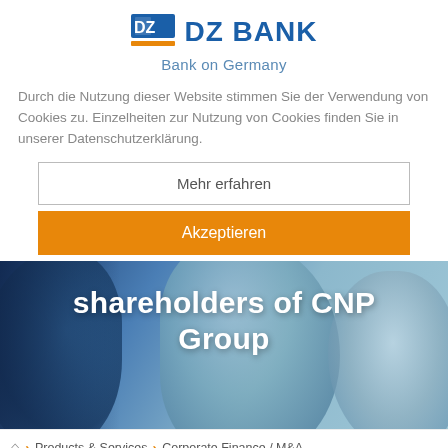[Figure (logo): DZ BANK logo with blue icon and text, tagline 'Bank on Germany']
Durch die Nutzung dieser Website stimmen Sie der Verwendung von Cookies zu. Einzelheiten zur Nutzung von Cookies finden Sie in unserer Datenschutzerklärung.
Mehr erfahren
Akzeptieren
[Figure (photo): Background photo of glass bottles with blue color tint and overlay text 'shareholders of CNP Group' in white bold font]
⌂ > Products & Services > Corporate Finance / M&A